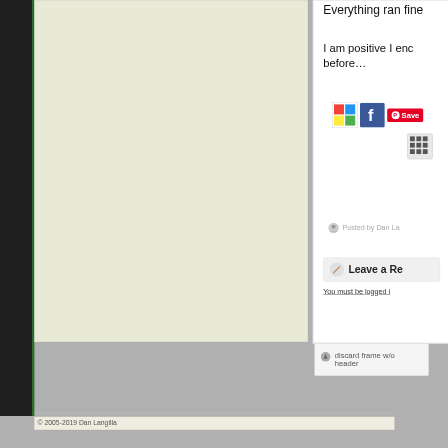Everything ran fine
I am positive I enc before…
[Figure (screenshot): Social sharing buttons: Microsoft/MSN icon (colorful grid), Facebook icon (blue F), Pinterest Save button (red), and a QR/grid icon]
Posted by Dan La
Leave a Re
You must be logged i
discard frame w/o header
© 2005-2019 Dan Langilla